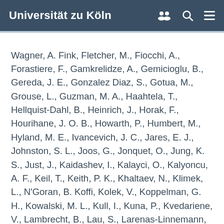Universität zu Köln
Wagner, A. Fink, Fletcher, M., Fiocchi, A., Forastiere, F., Gamkrelidze, A., Gemicioglu, B., Gereda, J. E., Gonzalez Diaz, S., Gotua, M., Grouse, L., Guzman, M. A., Haahtela, T., Hellquist-Dahl, B., Heinrich, J., Horak, F., Hourihane, J. O. B., Howarth, P., Humbert, M., Hyland, M. E., Ivancevich, J. C., Jares, E. J., Johnston, S. L., Joos, G., Jonquet, O., Jung, K. S., Just, J., Kaidashev, I., Kalayci, O., Kalyoncu, A. F., Keil, T., Keith, P. K., Khaltaev, N., Klimek, L., N'Goran, B. Koffi, Kolek, V., Koppelman, G. H., Kowalski, M. L., Kull, I., Kuna, P., Kvedariene, V., Lambrecht, B., Lau, S., Larenas-Linnemann, D., Laune, D., Le, L. T. T., Lieberman, P., Lipworth, B., Li, J., Louis, R., Magard, Y., Magnan, A., Mahboub, B., Majer, I., Makela, M. J., Manning, P., De Manuel Keenoy, E.,